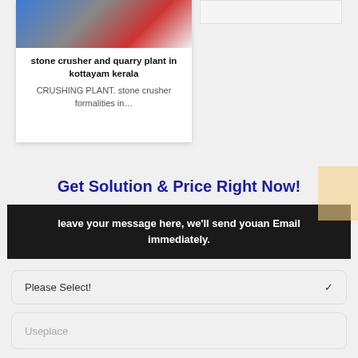[Figure (photo): Card with image at top showing stone crusher/quarry equipment photo]
stone crusher and quarry plant in kottayam kerala
CRUSHING PLANT. stone crusher formalities in…
Get Solution & Price Right Now!
leave your message here, we'll send youan Email immediately.
Please Select!
Useplace